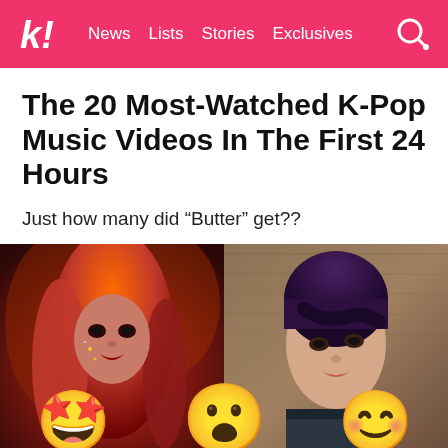k! News Lists Stories Exclusives
The 20 Most-Watched K-Pop Music Videos In The First 24 Hours
Just how many did “Butter” get??
[Figure (photo): Two photos side by side: left shows a female K-pop artist with long red hair in a fantasy-themed setting; right shows a male K-pop artist with dark purple hair against a brown background. Three surprised/wow emoji faces appear at the bottom of the image.]